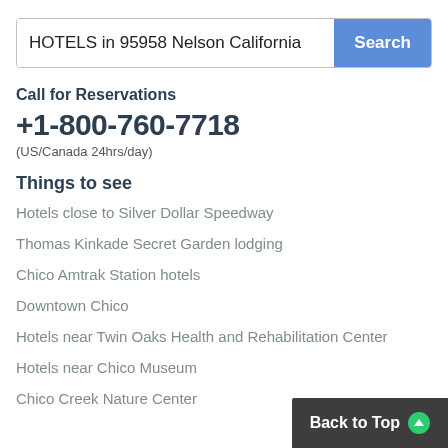HOTELS in 95958 Nelson California
Call for Reservations
+1-800-760-7718
(US/Canada 24hrs/day)
Things to see
Hotels close to Silver Dollar Speedway
Thomas Kinkade Secret Garden lodging
Chico Amtrak Station hotels
Downtown Chico
Hotels near Twin Oaks Health and Rehabilitation Center
Hotels near Chico Museum
Chico Creek Nature Center
Back to Top